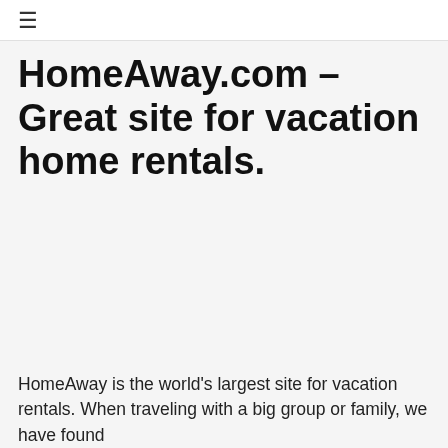≡
HomeAway.com – Great site for vacation home rentals.
HomeAway is the world's largest site for vacation rentals. When traveling with a big group or family, we have found that vacation rentals are often times a lower cost, better located